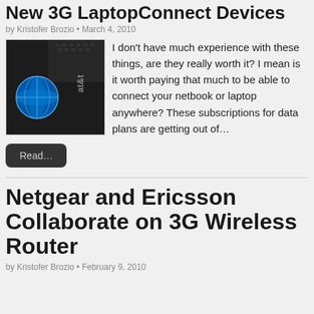New 3G LaptopConnect Devices
by Kristofer Brozio • March 4, 2010
[Figure (photo): Close-up photo of an AT&T 3G LaptopConnect device showing the AT&T logo and branding on a dark surface]
I don't have much experience with these things, are they really worth it? I mean is it worth paying that much to be able to connect your netbook or laptop anywhere? These subscriptions for data plans are getting out of…
Read…
Netgear and Ericsson Collaborate on 3G Wireless Router
by Kristofer Brozio • February 9, 2010